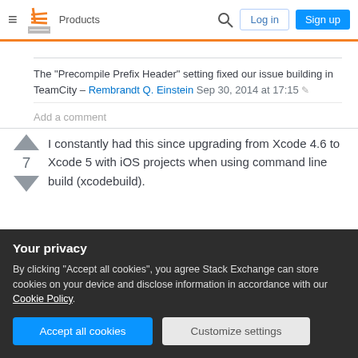≡ [Stack Overflow logo] Products 🔍 Log in Sign up
The "Precompile Prefix Header" setting fixed our issue building in TeamCity – Rembrandt Q. Einstein Sep 30, 2014 at 17:15 ✎
Add a comment
I constantly had this since upgrading from Xcode 4.6 to Xcode 5 with iOS projects when using command line build (xcodebuild).
What worked for me is to use this as command line
Your privacy
By clicking "Accept all cookies", you agree Stack Exchange can store cookies on your device and disclose information in accordance with our Cookie Policy.
Accept all cookies   Customize settings